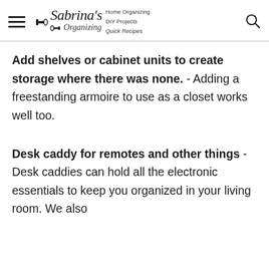Sabrina's Organizing — Home Organizing, DIY Projects, Quick Recipes
Add shelves or cabinet units to create storage where there was none. - Adding a freestanding armoire to use as a closet works well too.
Desk caddy for remotes and other things - Desk caddies can hold all the electronic essentials to keep you organized in your living room. We also